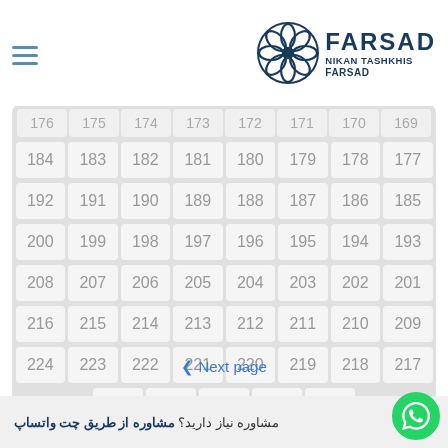[Figure (logo): FARSAD NIKAN TASHKHIS FARSAD logo with decorative circular icon]
| 176 | 175 | 174 | 173 | 172 | 171 | 170 | 169 |
| 184 | 183 | 182 | 181 | 180 | 179 | 178 | 177 |
| 192 | 191 | 190 | 189 | 188 | 187 | 186 | 185 |
| 200 | 199 | 198 | 197 | 196 | 195 | 194 | 193 |
| 208 | 207 | 206 | 205 | 204 | 203 | 202 | 201 |
| 216 | 215 | 214 | 213 | 212 | 211 | 210 | 209 |
| 224 | 223 | 222 | 221 | 220 | 219 | 218 | 217 |
| 229 | 228 | 227 | 226 | 225 |
< Next page
مشاوره نیاز دارید؟ مشاوره از طریق چت واتساپ